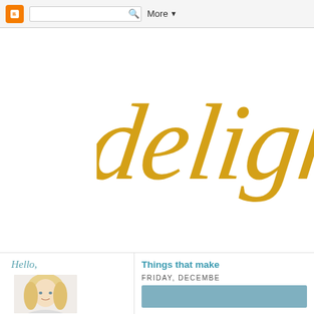Blogger navbar with search box and More button
delight
Hello,
[Figure (photo): Portrait photo of a smiling blonde woman]
Things that make
FRIDAY, DECEMBER